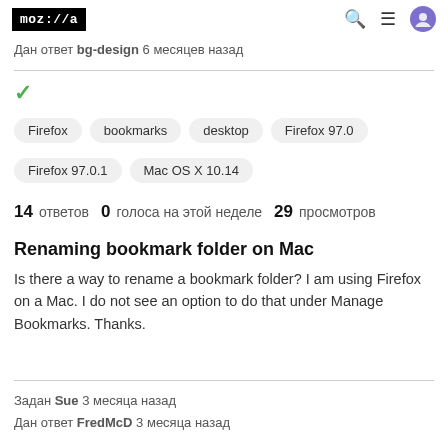moz://a
Дан ответ bg-design 6 месяцев назад
✓
Firefox
bookmarks
desktop
Firefox 97.0
Firefox 97.0.1
Mac OS X 10.14
14 ответов  0  голоса на этой неделе  29 просмотров
Renaming bookmark folder on Mac
Is there a way to rename a bookmark folder? I am using Firefox on a Mac. I do not see an option to do that under Manage Bookmarks. Thanks.
Задан Sue 3 месяца назад
Дан ответ FredMcD 3 месяца назад